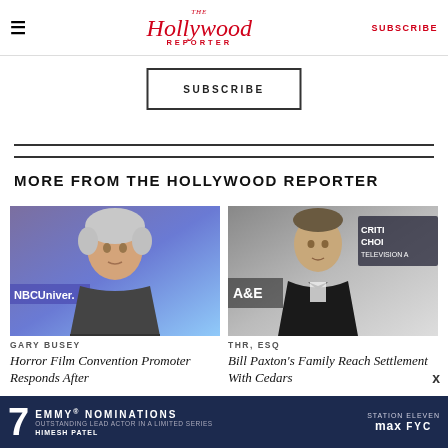≡  The Hollywood Reporter  SUBSCRIBE
SUBSCRIBE
MORE FROM THE HOLLYWOOD REPORTER
[Figure (photo): Gary Busey at NBCUniversal event, grey hair, wearing patterned jacket]
GARY BUSEY
Horror Film Convention Promoter Responds After
[Figure (photo): Bill Paxton at Critics Choice Awards, wearing tuxedo with bow tie]
THR, ESQ
Bill Paxton's Family Reach Settlement With Cedars
[Figure (infographic): Ad banner: 7 Emmy Nominations - Station Eleven - max FYC - Outstanding Lead Actor in a Limited Series - Himesh Patel]